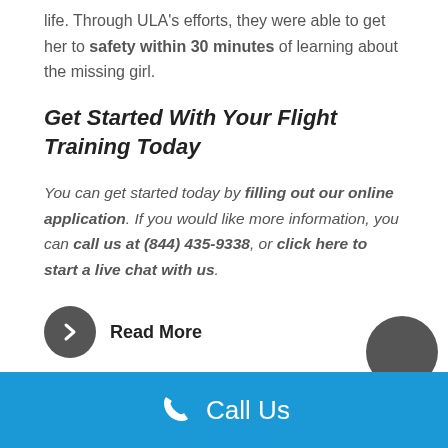life. Through ULA's efforts, they were able to get her to safety within 30 minutes of learning about the missing girl.
Get Started With Your Flight Training Today
You can get started today by filling out our online application. If you would like more information, you can call us at (844) 435-9338, or click here to start a live chat with us.
Read More
Call Us